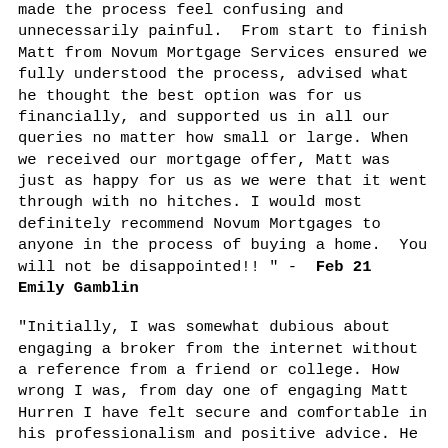made the process feel confusing and unnecessarily painful.  From start to finish Matt from Novum Mortgage Services ensured we fully understood the process, advised what he thought the best option was for us financially, and supported us in all our queries no matter how small or large. When we received our mortgage offer, Matt was just as happy for us as we were that it went through with no hitches. I would most definitely recommend Novum Mortgages to anyone in the process of buying a home.  You will not be disappointed!! " -  Feb 21 Emily Gamblin
"Initially, I was somewhat dubious about engaging a broker from the internet without a reference from a friend or college. How wrong I was, from day one of engaging Matt Hurren I have felt secure and comfortable in his professionalism and positive advice. He provided 'layman's'  explanations of every